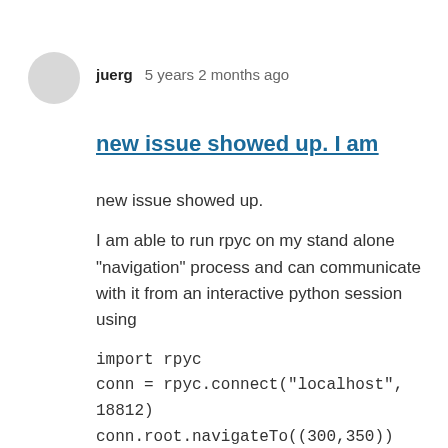juerg   5 years 2 months ago
new issue showed up. I am
new issue showed up.
I am able to run rpyc on my stand alone "navigation" process and can communicate with it from an interactive python session using
import rpyc
conn = rpyc.connect("localhost", 18812)
conn.root.navigateTo((300,350))
at first I had an issue with thread